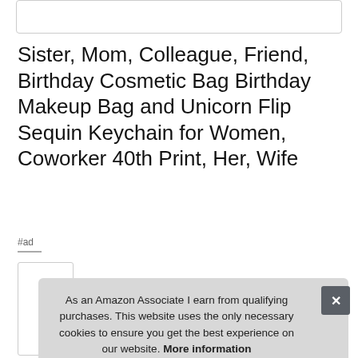[Figure (other): Empty white box with border at top of page]
Sister, Mom, Colleague, Friend, Birthday Cosmetic Bag Birthday Makeup Bag and Unicorn Flip Sequin Keychain for Women, Coworker 40th Print, Her, Wife
#ad
[Figure (photo): Partial product image thumbnail on left side]
As an Amazon Associate I earn from qualifying purchases. This website uses the only necessary cookies to ensure you get the best experience on our website. More information